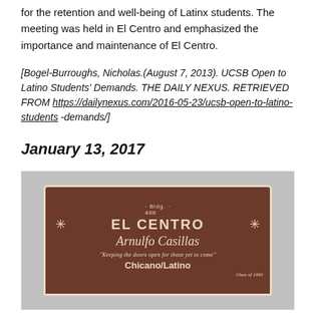for the retention and well-being of Latinx students. The meeting was held in El Centro and emphasized the importance and maintenance of El Centro.
[Bogel-Burroughs, Nicholas.(August 7, 2013). UCSB Open to Latino Students' Demands. THE DAILY NEXUS. RETRIEVED FROM https://dailynexus.com/2016-05-23/ucsb-open-to-latino-students -demands/]
January 13, 2017
[Figure (photo): Photo of the El Centro Arnulfo Casillas building sign. Brown sign with cream/beige text reading: Bldg. 406, EL CENTRO, Arnulfo Casillas, 'Keeping the doors open for those yet to come'', Chicano/Latino, Class of 1993.]